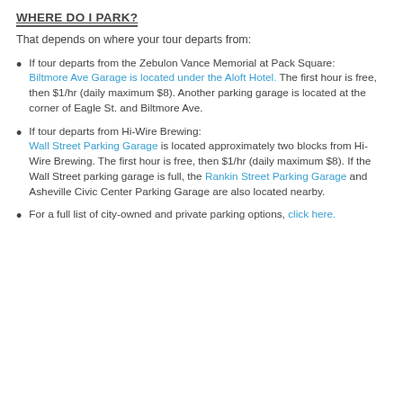WHERE DO I PARK?
That depends on where your tour departs from:
If tour departs from the Zebulon Vance Memorial at Pack Square: Biltmore Ave Garage is located under the Aloft Hotel. The first hour is free, then $1/hr (daily maximum $8). Another parking garage is located at the corner of Eagle St. and Biltmore Ave.
If tour departs from Hi-Wire Brewing: Wall Street Parking Garage is located approximately two blocks from Hi-Wire Brewing. The first hour is free, then $1/hr (daily maximum $8). If the Wall Street parking garage is full, the Rankin Street Parking Garage and Asheville Civic Center Parking Garage are also located nearby.
For a full list of city-owned and private parking options, click here.